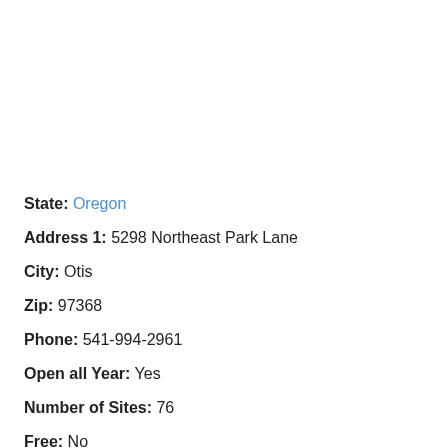State: Oregon
Address 1: 5298 Northeast Park Lane
City: Otis
Zip: 97368
Phone: 541-994-2961
Open all Year: Yes
Number of Sites: 76
Free: No